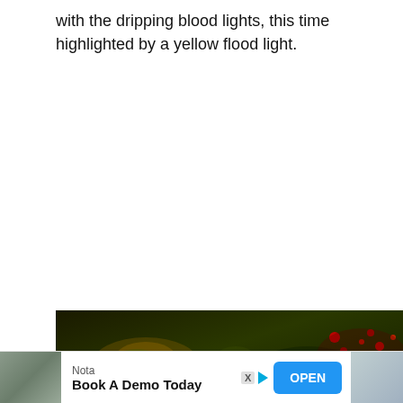with the dripping blood lights, this time highlighted by a yellow flood light.
[Figure (photo): Night-time outdoor scene showing trees and foliage illuminated by red and yellow lights, dark background with reddish glowing points visible through dark green tree branches.]
Nota
Book A Demo Today OPEN